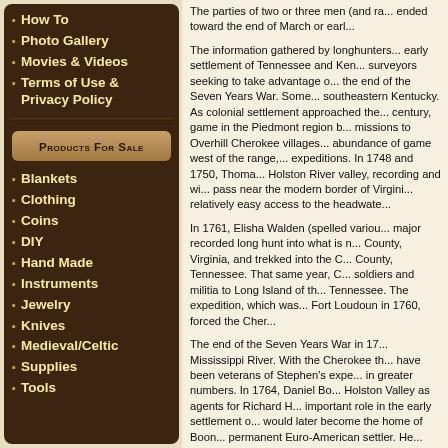How To
Photo Gallery
Movies & Videos
Terms of Use & Privacy Policy
Products For Sale
Blankets
Clothing
Coins
DIY
Hand Made
Instruments
Jewelry
Knives
Medieval/Celtic
Supplies
Tools
The parties of two or three men (and ra... ended toward the end of March or earl...
The information gathered by longhunters... early settlement of Tennessee and Kentucky... surveyors seeking to take advantage of... the end of the Seven Years War. Some... southeastern Kentucky. As colonial settlement approached the... century, game in the Piedmont region b... missions to Overhill Cherokee villages... abundance of game west of the range,... expeditions. In 1748 and 1750, Thoma... Holston River valley, recording and wi... pass near the modern border of Virginia... relatively easy access to the headwate...
In 1761, Elisha Walden (spelled variou... major recorded long hunt into what is n... County, Virginia, and trekked into the C... County, Tennessee. That same year, C... soldiers and militia to Long Island of th... Tennessee. The expedition, which was... Fort Loudoun in 1760, forced the Cher...
The end of the Seven Years War in 17... Mississippi River. With the Cherokee th... have been veterans of Stephen's expe... in greater numbers. In 1764, Daniel Bo... Holston Valley as agents for Richard H... important role in the early settlement o... would later become the home of Boon... permanent Euro-American settler. He...